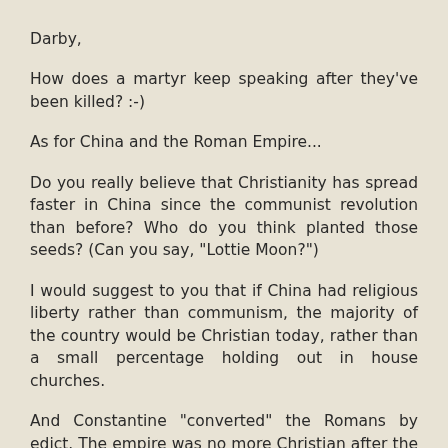Darby,
How does a martyr keep speaking after they've been killed? :-)
As for China and the Roman Empire...
Do you really believe that Christianity has spread faster in China since the communist revolution than before? Who do you think planted those seeds? (Can you say, "Lottie Moon?")
I would suggest to you that if China had religious liberty rather than communism, the majority of the country would be Christian today, rather than a small percentage holding out in house churches.
And Constantine "converted" the Romans by edict. The empire was no more Christian after the edict than before. I still don't think you can point to one country where Christianity (true Christianity) flourishes without religious